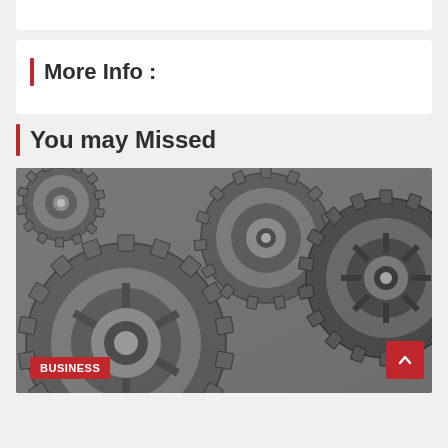More Info :
You may Missed
[Figure (photo): Black and white close-up photograph of interlocking mechanical gears and cogs. A red 'BUSINESS' badge is overlaid at the bottom left, and a red scroll-to-top button with an up arrow is at the bottom right.]